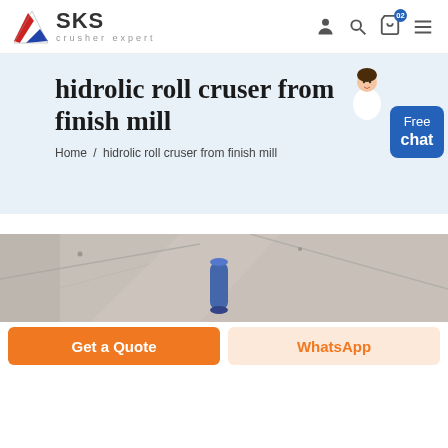[Figure (logo): SKS crusher expert logo with stylized flag/wing icon in red, white, blue]
[Figure (screenshot): Website header navigation icons: person/account, search magnifier, shopping cart with badge '02', hamburger menu]
hidrolic roll cruser from finish mill
Home / hidrolic roll cruser from finish mill
[Figure (photo): Industrial mill/crusher machinery photo, blurred, showing metal structure and a blue cylindrical object]
Get a Quote
WhatsApp